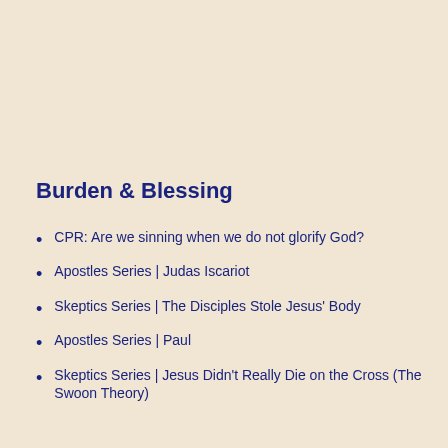Burden & Blessing
CPR: Are we sinning when we do not glorify God?
Apostles Series | Judas Iscariot
Skeptics Series | The Disciples Stole Jesus' Body
Apostles Series | Paul
Skeptics Series | Jesus Didn't Really Die on the Cross (The Swoon Theory)